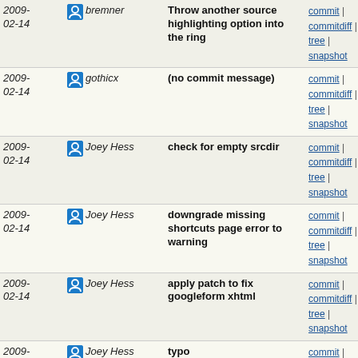| Date | Author | Commit message | Links |
| --- | --- | --- | --- |
| 2009-02-14 | bremner | Throw another source highlighting option into the ring | commit | commitdiff | tree | snapshot |
| 2009-02-14 | gothicx | (no commit message) | commit | commitdiff | tree | snapshot |
| 2009-02-14 | Joey Hess | check for empty srcdir | commit | commitdiff | tree | snapshot |
| 2009-02-14 | Joey Hess | downgrade missing shortcuts page error to warning | commit | commitdiff | tree | snapshot |
| 2009-02-14 | Joey Hess | apply patch to fix googleform xhtml | commit | commitdiff | tree | snapshot |
| 2009-02-14 | Joey Hess | typo | commit | commitdiff | tree | snapshot |
| 2009-02-13 | http://josephturian... | (no commit message) | commit | commitdiff | tree | snapshot |
| 2009-02-13 | http://www... | Update patch and reply to bug report. | commit | commitdiff | tree | snapshot |
| 2009-02-13 | http://www... | Add a new bug to track simple patch | commit | commitdiff | tree | snapshot |
| 2009-02-13 | http://weakish... | The wrapper works nicely! | commit | commitdiff | tree | snapshot |